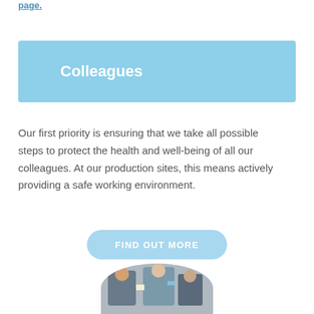page.
Colleagues
Our first priority is ensuring that we take all possible steps to protect the health and well-being of all our colleagues. At our production sites, this means actively providing a safe working environment.
FIND OUT MORE
[Figure (photo): Circular cropped photo of colleagues at a production site, showing workers in safety gear]